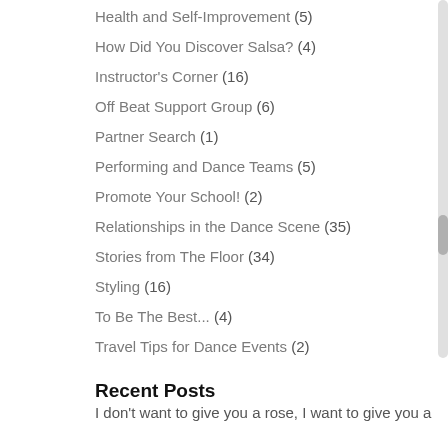Health and Self-Improvement (5)
How Did You Discover Salsa? (4)
Instructor's Corner (16)
Off Beat Support Group (6)
Partner Search (1)
Performing and Dance Teams (5)
Promote Your School! (2)
Relationships in the Dance Scene (35)
Stories from The Floor (34)
Styling (16)
To Be The Best... (4)
Travel Tips for Dance Events (2)
Recent Posts
I don't want to give you a rose, I want to give you a